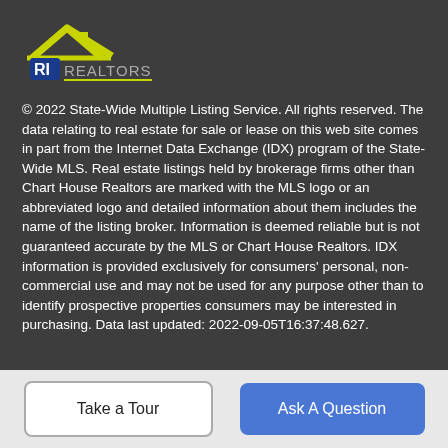[Figure (logo): RI Realtors logo with yellow house/roof graphic and blue RI text]
© 2022 State-Wide Multiple Listing Service. All rights reserved. The data relating to real estate for sale or lease on this web site comes in part from the Internet Data Exchange (IDX) program of the State-Wide MLS. Real estate listings held by brokerage firms other than Chart House Realtors are marked with the MLS logo or an abbreviated logo and detailed information about them includes the name of the listing broker. Information is deemed reliable but is not guaranteed accurate by the MLS or Chart House Realtors. IDX information is provided exclusively for consumers' personal, non-commercial use and may not be used for any purpose other than to identify prospective properties consumers may be interested in purchasing. Data last updated: 2022-09-05T16:37:48.627.
Take a Tour
Ask A Question